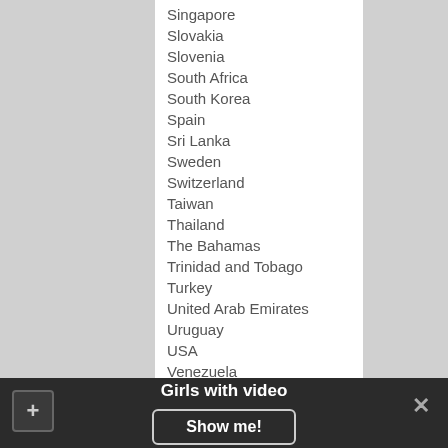Singapore
Slovakia
Slovenia
South Africa
South Korea
Spain
Sri Lanka
Sweden
Switzerland
Taiwan
Thailand
The Bahamas
Trinidad and Tobago
Turkey
United Arab Emirates
Uruguay
USA
Venezuela
Girls with video
Show me!